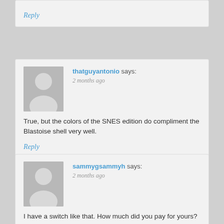Reply
thatguyantonio says:
2 months ago
True, but the colors of the SNES edition do compliment the Blastoise shell very well.
Reply
sammygsammyh says:
2 months ago
I have a switch like that. How much did you pay for yours?
Reply